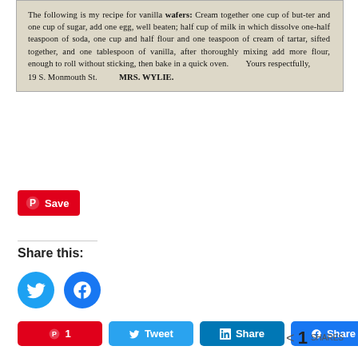[Figure (photo): Scanned newspaper clipping showing a recipe for vanilla wafers submitted by Mrs. Wylie of 19 S. Monmouth St. The text reads: 'The following is my recipe for vanilla wafers: Cream together one cup of butter and one cup of sugar, add one egg, well beaten; half cup of milk in which dissolve one-half teaspoon of soda, one cup and half flour and one teaspoon of cream of tartar, sifted together, and one tablespoon of vanilla, after thoroughly mixing add more flour, enough to roll without sticking, then bake in a quick oven. Yours respectfully, 19 S. Monmouth St. MRS. WYLIE.']
[Figure (screenshot): Pinterest Save button (red background with Pinterest P icon and 'Save' text)]
Share this:
[Figure (screenshot): Social share icons: Twitter (blue circle) and Facebook (blue circle)]
[Figure (screenshot): Share buttons row: red Pinterest button with count 1, blue Tweet button, blue LinkedIn button, blue Facebook button, and share count showing < 1 SHARES]